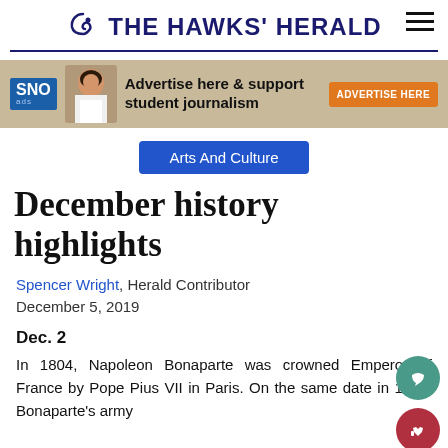THE HAWKS' HERALD
[Figure (infographic): SNO Ads advertisement banner: 'Advertise here & support student journalism' with orange 'ADVERTISE HERE' button]
Arts And Culture
December history highlights
Spencer Wright, Herald Contributor
December 5, 2019
Dec. 2
In 1804, Napoleon Bonaparte was crowned Emperor of France by Pope Pius VII in Paris. On the same date in 1805, Bonaparte's army